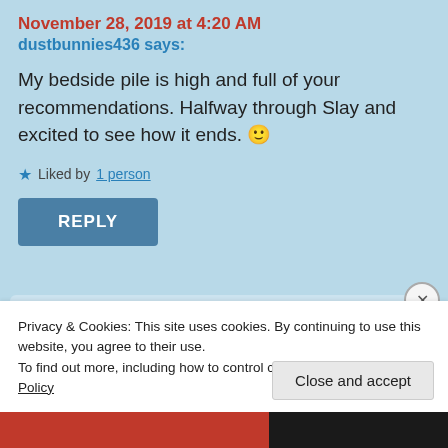November 28, 2019 at 4:20 AM
dustbunnies436 says:
My bedside pile is high and full of your recommendations. Halfway through Slay and excited to see how it ends. 🙂
★ Liked by 1 person
REPLY
Privacy & Cookies: This site uses cookies. By continuing to use this website, you agree to their use.
To find out more, including how to control cookies, see here: Cookie Policy
Close and accept